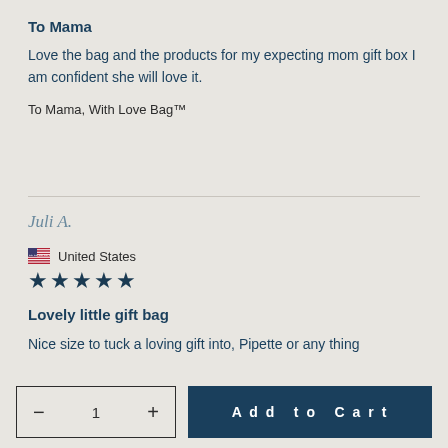To Mama
Love the bag and the products for my expecting mom gift box I am confident she will love it.
To Mama, With Love Bag™
Juli A.
United States
★★★★★
Lovely little gift bag
Nice size to tuck a loving gift into, Pipette or any thing